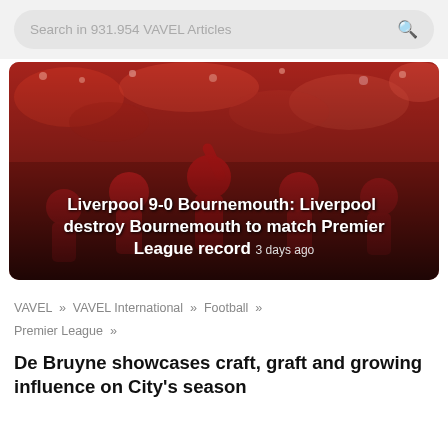Search in 931.954 VAVEL Articles
[Figure (photo): Liverpool football players in red kit celebrating on the pitch with a packed crowd in the background. A player raises his arm in celebration. Overlaid text reads: Liverpool 9-0 Bournemouth: Liverpool destroy Bournemouth to match Premier League record - 3 days ago]
VAVEL » VAVEL International » Football » Premier League »
De Bruyne showcases craft, graft and growing influence on City's season